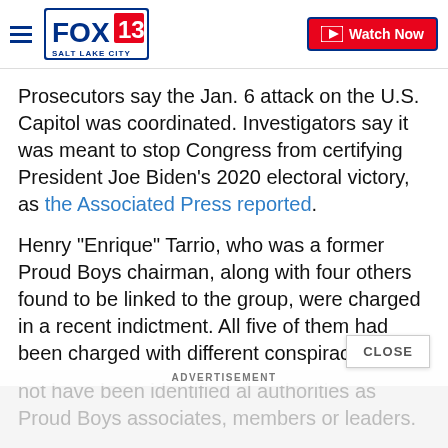FOX 13 SALT LAKE CITY — Watch Now
Prosecutors say the Jan. 6 attack on the U.S. Capitol was coordinated. Investigators say it was meant to stop Congress from certifying President Joe Biden's 2020 electoral victory, as the Associated Press reported.
Henry "Enrique" Tarrio, who was a former Proud Boys chairman, along with four others found to be linked to the group, were charged in a recent indictment. All five of them had been charged with different conspiracy counts.
Over three dozen of those charged in the Jan. 6 Ca
not have been identified al authorities as Proud Boys associates, members or leaders.